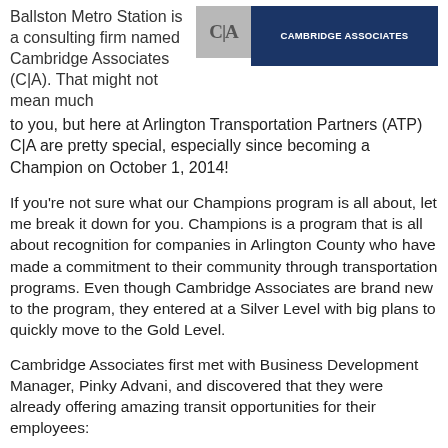[Figure (logo): Cambridge Associates (C|A) logo with grey C|A emblem and dark navy blue banner]
Ballston Metro Station is a consulting firm named Cambridge Associates (C|A). That might not mean much to you, but here at Arlington Transportation Partners (ATP) C|A are pretty special, especially since becoming a Champion on October 1, 2014!
If you're not sure what our Champions program is all about, let me break it down for you. Champions is a program that is all about recognition for companies in Arlington County who have made a commitment to their community through transportation programs. Even though Cambridge Associates are brand new to the program, they entered at a Silver Level with big plans to quickly move to the Gold Level.
Cambridge Associates first met with Business Development Manager, Pinky Advani, and discovered that they were already offering amazing transit opportunities for their employees:
Pre-tax transit...